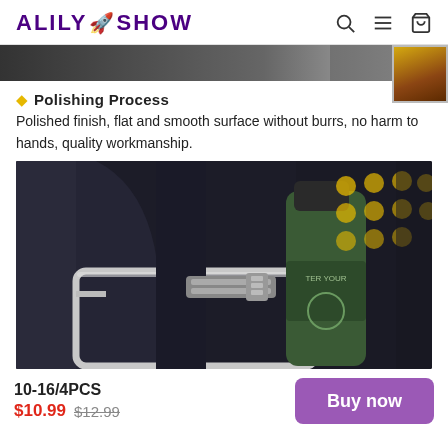ALILY SHOW
[Figure (photo): Top image strip showing a dark background, partially visible product photo]
Polishing Process
Polished finish, flat and smooth surface without burrs, no harm to hands, quality workmanship.
[Figure (photo): Photo of a bicycle water bottle cage with a green water bottle, showing a stainless steel frame/cage holding the bottle against a dark background with yellow bokeh lights]
10-16/4PCS
$10.99 $12.99
Buy now